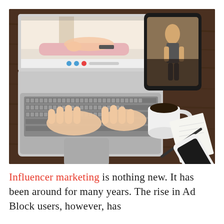[Figure (photo): Overhead/top-down view of a desk scene: a person's hands typing on a silver laptop whose screen shows a fitness video of a woman doing a plank exercise in a living room. To the right is a black tablet showing a woman's fitness photo, a white coffee mug with dark coffee, a white smartphone, a notepad/paper, and a pen, all on a dark wood surface.]
Influencer marketing is nothing new. It has been around for many years. The rise in Ad Block users, however, has